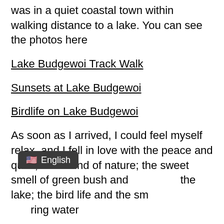was in a quiet coastal town within walking distance to a lake. You can see the photos here
Lake Budgewoi Track Walk
Sunsets at Lake Budgewoi
Birdlife on Lake Budgewoi
As soon as I arrived, I could feel myself relax, and I fell in love with the peace and quiet; the sound of nature; the sweet smell of green bush and the lake; the bird life and the sm…ring water
[Figure (screenshot): Browser tooltip/language selector overlay showing US flag emoji and the word 'English' in white text on dark background]